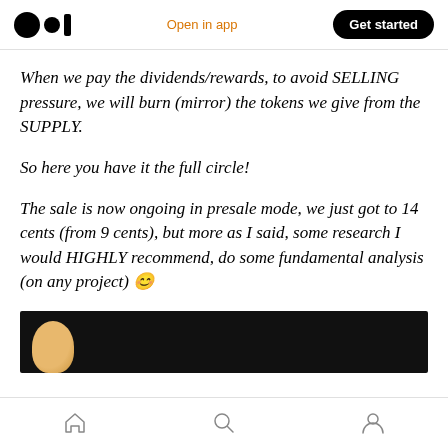Medium app header with logo, Open in app, Get started
When we pay the dividends/rewards, to avoid SELLING pressure, we will burn (mirror) the tokens we give from the SUPPLY.
So here you have it the full circle!
The sale is now ongoing in presale mode, we just got to 14 cents (from 9 cents), but more as I said, some research I would HIGHLY recommend, do some fundamental analysis (on any project) 😊
[Figure (photo): Dark background image partially visible at bottom, showing a partial face or figure with golden/yellow tones]
Bottom navigation bar with home, search, and profile icons